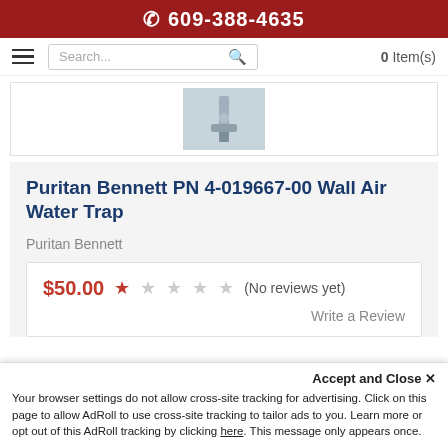609-388-4635
Search...  0 Item(s)
[Figure (photo): Product thumbnail image of Puritan Bennett Wall Air Water Trap against a grey background]
Puritan Bennett PN 4-019667-00 Wall Air Water Trap
Puritan Bennett
$50.00  (No reviews yet)  Write a Review
Accept and Close ×
Your browser settings do not allow cross-site tracking for advertising. Click on this page to allow AdRoll to use cross-site tracking to tailor ads to you. Learn more or opt out of this AdRoll tracking by clicking here. This message only appears once.